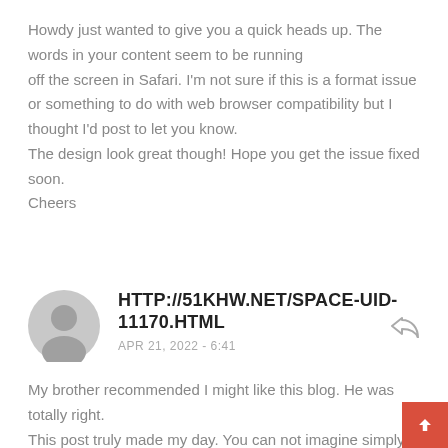Howdy just wanted to give you a quick heads up. The words in your content seem to be running off the screen in Safari. I'm not sure if this is a format issue or something to do with web browser compatibility but I thought I'd post to let you know. The design look great though! Hope you get the issue fixed soon. Cheers
HTTP://51KHW.NET/SPACE-UID-11170.HTML
APR 21, 2022 - 6:41
My brother recommended I might like this blog. He was totally right. This post truly made my day. You can not imagine simply how much time I had spent for this info! Thanks!